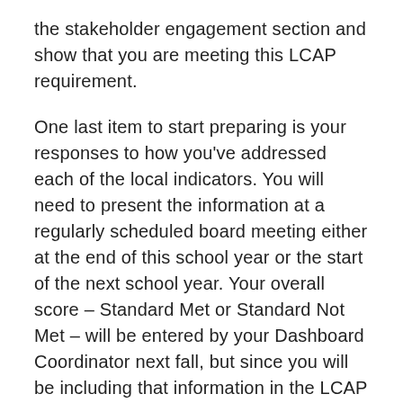the stakeholder engagement section and show that you are meeting this LCAP requirement.
One last item to start preparing is your responses to how you've addressed each of the local indicators. You will need to present the information at a regularly scheduled board meeting either at the end of this school year or the start of the next school year. Your overall score – Standard Met or Standard Not Met – will be entered by your Dashboard Coordinator next fall, but since you will be including that information in the LCAP Annual Update, it makes sense to prepare your narratives for the Dashboard local indicator reporting at the end of 2018-19.